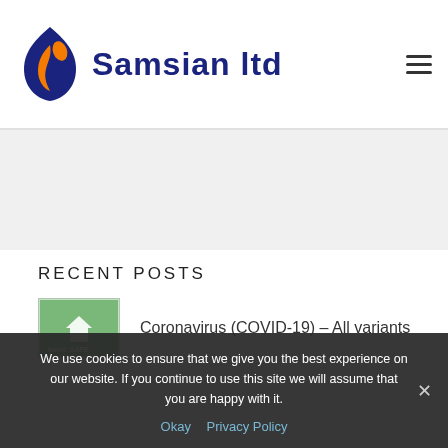[Figure (logo): Samsian ltd logo: flame/droplet icon in dark blue and orange, with text 'Samsian ltd' in dark navy blue]
RECENT POSTS
[Figure (photo): homeSAFE logo thumbnail — green background with house icon and text 'homeSAFE protecting us all']
Coronavirus (COVID-19) – All variants
We use cookies to ensure that we give you the best experience on our website. If you continue to use this site we will assume that you are happy with it.
Okay    Privacy Policy